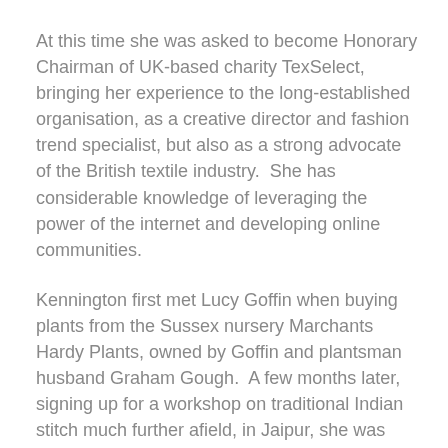At this time she was asked to become Honorary Chairman of UK-based charity TexSelect, bringing her experience to the long-established organisation, as a creative director and fashion trend specialist, but also as a strong advocate of the British textile industry.  She has considerable knowledge of leveraging the power of the internet and developing online communities.
Kennington first met Lucy Goffin when buying plants from the Sussex nursery Marchants Hardy Plants, owned by Goffin and plantsman husband Graham Gough.  A few months later, signing up for a workshop on traditional Indian stitch much further afield, in Jaipur, she was happy to find that the workshop was headed up by none other than Lucy Goffin.
“We’ve come from very different work paths, yet feel very ‘connected’” says Kennington on their collaboration.